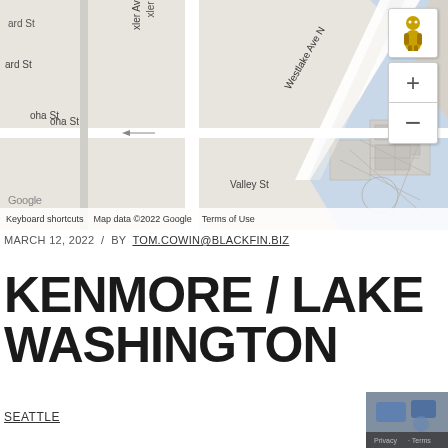[Figure (map): Google Maps screenshot showing Seattle area including Westlake Ave N, 9th Ave, Aloha St, Valley St, with lake/water area to the right. Map includes zoom controls (+/-) and pegman icon on the right side. Shows Google logo and map data attribution.]
MARCH 12, 2022  /  BY TOM.COWIN@BLACKFIN.BIZ
KENMORE / LAKE WASHINGTON
SEATTLE